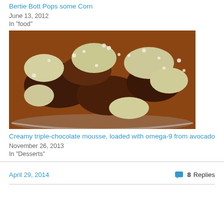Bertie Bott Pops some Corn
June 13, 2012
In "food"
[Figure (photo): A glass bowl filled with chocolate mousse and pieces of avocado or banana topped with white crumbled topping]
Creamy triple-chocolate mousse, loaded with omega-9 from avocado
November 26, 2013
In "Desserts"
April 29, 2014   8 Replies